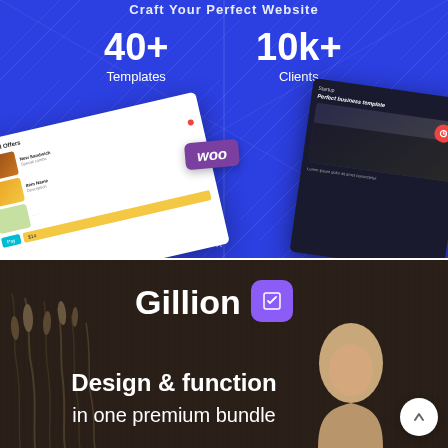[Figure (screenshot): Website builder promotional banner on blue background showing '40+ Templates' and '10k+ Clients' stats with UI mockups including a food ordering screen with WooCommerce (woo) badge and a dark business template screen]
[Figure (screenshot): Gillion theme promotional banner on dark wood-textured background showing 'Gillion' title with purple bookmark icon, 'Design & function in one premium bundle' tagline, reed grass silhouette on left, woman photo on right, and scroll-up button]